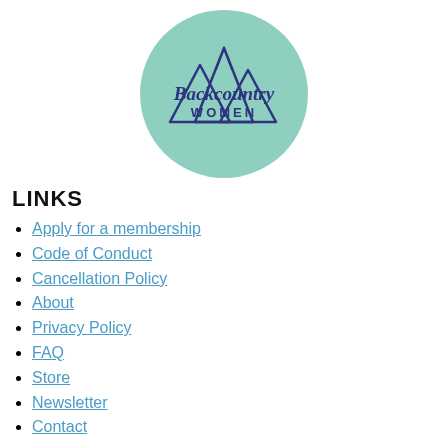[Figure (logo): Backcountry Women circular logo with teal/mint green background, mountain peaks illustration, and 'Backcountry Women' text in dark navy script and sans-serif]
LINKS
Apply for a membership
Code of Conduct
Cancellation Policy
About
Privacy Policy
FAQ
Store
Newsletter
Contact